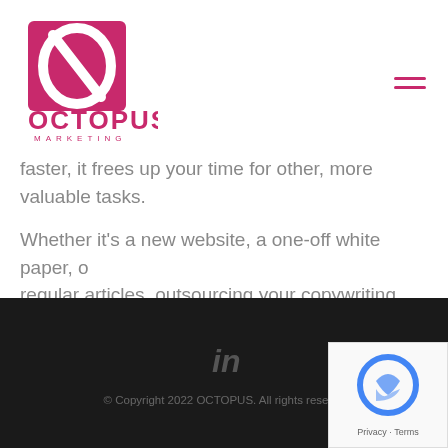OCTOPUS MARKETING
faster, it frees up your time for other, more valuable tasks.
Whether it's a new website, a one-off white paper, or regular articles, outsourcing your copywriting projects to OCTOPUS makes good business sense. Talk to us about our affordable content writing service today.
© Copyright 2022 OCTOPUS. All rights reserved.